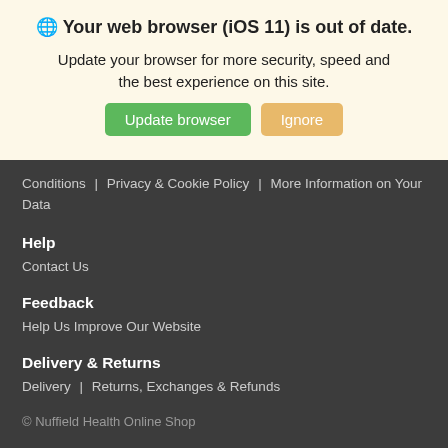🌐 Your web browser (iOS 11) is out of date.
Update your browser for more security, speed and the best experience on this site.
Update browser   Ignore
Conditions | Privacy & Cookie Policy | More Information on Your Data
Help
Contact Us
Feedback
Help Us Improve Our Website
Delivery & Returns
Delivery | Returns, Exchanges & Refunds
© Nuffield Health Online Shop